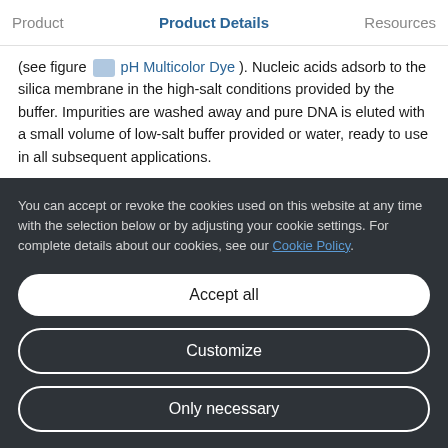Product | Product Details | Resources
(see figure [icon] pH Multicolor Dye ). Nucleic acids adsorb to the silica membrane in the high-salt conditions provided by the buffer. Impurities are washed away and pure DNA is eluted with a small volume of low-salt buffer provided or water, ready to use in all subsequent applications.
Handling
You can accept or revoke the cookies used on this website at any time with the selection below or by adjusting your cookie settings. For complete details about our cookies, see our Cookie Policy.
Accept all
Customize
Only necessary